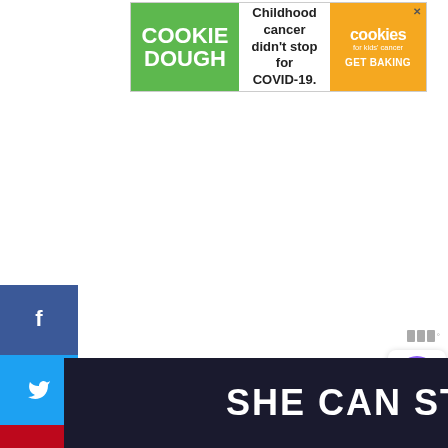[Figure (infographic): Cookie Dough for Kids Cancer advertisement banner. Green left section with 'COOKIE DOUGH' text, white middle with 'Childhood cancer didn't stop for COVID-19.' text, and orange right section with 'cookies for kids cancer' logo and 'GET BAKING' CTA button.]
[Figure (infographic): Social media share sidebar with three buttons: Facebook (dark blue with 'f' icon), Twitter (light blue with bird icon), Pinterest (red with 'p' icon).]
[Figure (infographic): Like/heart widget showing purple heart button and 118 likes count, plus a share button below.]
118
[Figure (infographic): What's Next panel showing a thumbnail of Blueberry Cinnamon... recipe with arrow label 'WHAT'S NEXT →']
WHAT'S NEXT →
Blueberry Cinnamon...
[Figure (logo): Taboola logo widget appearing twice on right side]
[Figure (infographic): SHE CAN STEM banner — dark navy background with bold white text reading 'SHE CAN STEM']